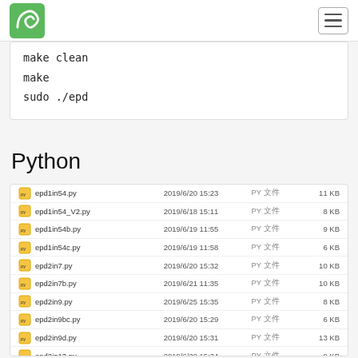Waveshare logo and navigation hamburger menu
make clean
make
sudo ./epd
Python
| filename | date | type | size |
| --- | --- | --- | --- |
| epd1in54.py | 2019/6/20 15:23 | PY 文件 | 11 KB |
| epd1in54_V2.py | 2019/6/18 15:11 | PY 文件 | 8 KB |
| epd1in54b.py | 2019/6/19 11:55 | PY 文件 | 9 KB |
| epd1in54c.py | 2019/6/19 11:58 | PY 文件 | 6 KB |
| epd2in7.py | 2019/6/20 15:32 | PY 文件 | 10 KB |
| epd2in7b.py | 2019/6/21 11:35 | PY 文件 | 10 KB |
| epd2in9.py | 2019/6/25 15:35 | PY 文件 | 8 KB |
| epd2in9bc.py | 2019/6/20 15:29 | PY 文件 | 6 KB |
| epd2in9d.py | 2019/6/20 15:31 | PY 文件 | 13 KB |
| epd2in13.py | 2019/6/20 15:34 | PY 文件 | 9 KB |
| epd2in13_V2.py | 2019/6/20 16:35 | PY 文件 | 12 KB |
| epd2in13bc.py | 2019/6/20 16:35 | PY 文件 | 6 KB |
| epd2in13d.py | 2019/6/20 11:14 | PY 文件 | 13 KB |
| epd4in2.py | 2019/6/20 11:27 | PY 文件 | 9 KB |
| epd4in2bc.py | 2019/6/20 11:54 | PY 文件 | 6 KB |
| epd5in83.py | 2019/6/20 13:52 | PY 文件 | 8 KB |
| epd5in83bc.py | 2019/6/20 14:46 | PY 文件 | 8 KB |
| epd7in5.py | 2019/6/20 14:46 | PY 文件 | 8 KB |
| epd7in5bc.py | 2019/6/20 14:56 | PY 文件 | 8 KB |